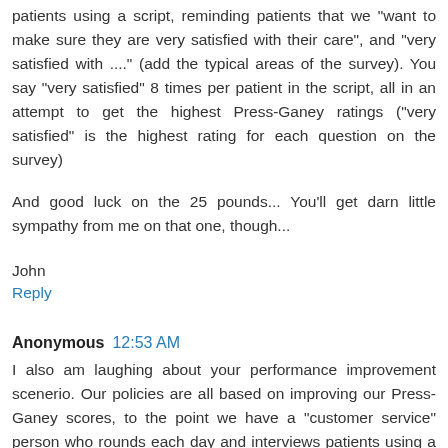patients using a script, reminding patients that we "want to make sure they are very satisfied with their care", and "very satisfied with ...." (add the typical areas of the survey). You say "very satisfied" 8 times per patient in the script, all in an attempt to get the highest Press-Ganey ratings ("very satisfied" is the highest rating for each question on the survey)
And good luck on the 25 pounds... You'll get darn little sympathy from me on that one, though...
John
Reply
Anonymous 12:53 AM
I also am laughing about your performance improvement scenerio. Our policies are all based on improving our Press-Ganey scores, to the point we have a "customer service" person who rounds each day and interviews patients using a script, reminding patients that we "want to make sure they are very satisfied with their care", and "very